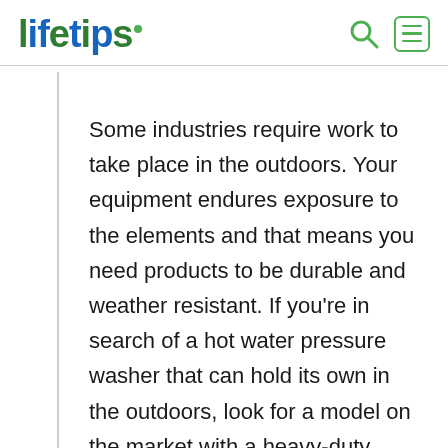lifetips
Some industries require work to take place in the outdoors. Your equipment endures exposure to the elements and that means you need products to be durable and weather resistant. If you're in search of a hot water pressure washer that can hold its own in the outdoors, look for a model on the market with a heavy-duty chassis design, built to withstand corrosion and heavy wear and tear. You can find models in a rugged